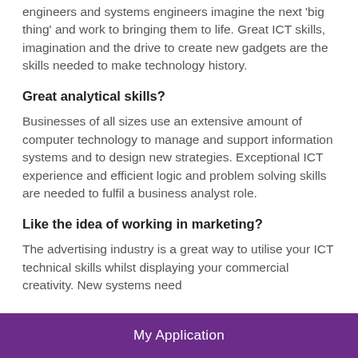engineers and systems engineers imagine the next 'big thing' and work to bringing them to life. Great ICT skills, imagination and the drive to create new gadgets are the skills needed to make technology history.
Great analytical skills?
Businesses of all sizes use an extensive amount of computer technology to manage and support information systems and to design new strategies. Exceptional ICT experience and efficient logic and problem solving skills are needed to fulfil a business analyst role.
Like the idea of working in marketing?
The advertising industry is a great way to utilise your ICT technical skills whilst displaying your commercial creativity. New systems need
My Application